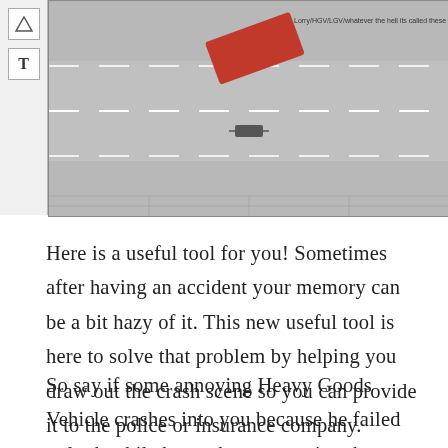[Figure (screenshot): Screenshot of a crash scene drawing tool showing a gray road with dashed white lane markings, a red vehicle shape (Lorry/HGV/LGV) with a label, and a small vehicle marker. A toolbar with triangle and T icons is visible on the left side.]
Here is a useful tool for you! Sometimes after having an accident your memory can be a bit hazy of it. This new useful tool is here to solve that problem by helping you draw out the crash scene so you can provide it to the police or insurance company.
So say if some annoying Heavy Goods Vehicle crashes into you because he failed to look while he or she was turning then you can re-create what